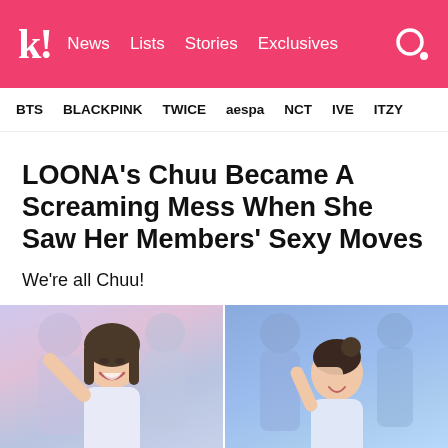k! News Lists Stories Exclusives
BTS BLACKPINK TWICE aespa NCT IVE ITZY
LOONA's Chuu Became A Screaming Mess When She Saw Her Members' Sexy Moves
We're all Chuu!
[Figure (photo): Two side-by-side photos of LOONA's Chuu laughing and reacting expressively on stage, wearing white outfits with other members visible in the background]